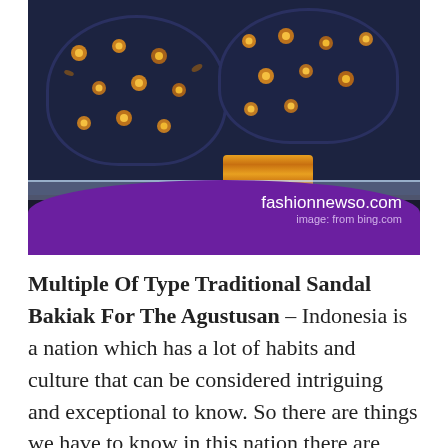[Figure (photo): Photo of traditional Indonesian bakiak sandals (wooden clogs) with dark navy blue fabric decorated with orange/gold floral batik patterns, displayed on a glass shelf. A purple curved banner overlays the bottom of the image with watermark text 'fashionnewso.com' and 'image: from bing.com'.]
Multiple Of Type Traditional Sandal Bakiak For The Agustusan – Indonesia is a nation which has a lot of habits and culture that can be considered intriguing and exceptional to know. So there are things we have to know in this nation there are many cultures from every area in Indonesia. It is inseparable from the name of habits in dress or activities completed by every community in their regions. Sandal became one